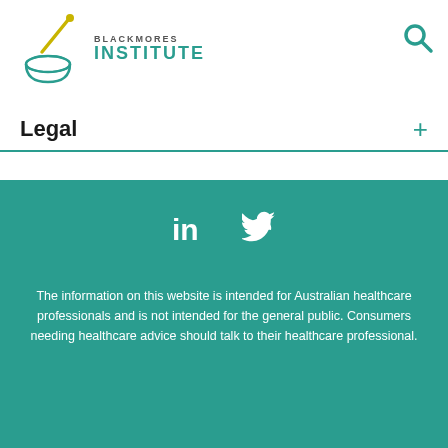[Figure (logo): Blackmores Institute logo with mortar and pestle icon and teal INSTITUTE text]
Legal
The information on this website is intended for Australian healthcare professionals and is not intended for the general public. Consumers needing healthcare advice should talk to their healthcare professional.